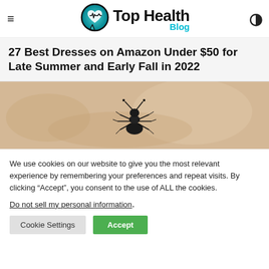Top Health Blog
27 Best Dresses on Amazon Under $50 for Late Summer and Early Fall in 2022
[Figure (photo): Close-up macro photo of an insect (ant or similar) on a sandy/tan background]
We use cookies on our website to give you the most relevant experience by remembering your preferences and repeat visits. By clicking “Accept”, you consent to the use of ALL the cookies.
Do not sell my personal information.